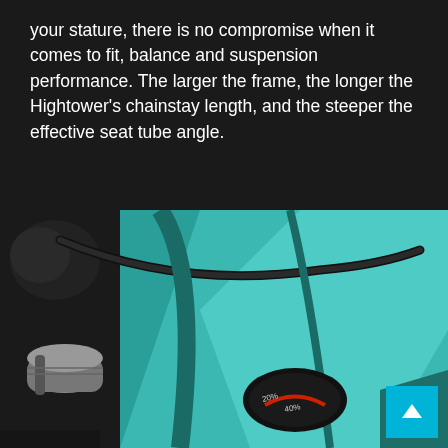your stature, there is no compromise when it comes to fit, balance and suspension performance. The larger the frame, the longer the Hightower's chainstay length, and the steeper the effective seat tube angle.
[Figure (photo): Close-up photo of a teal/turquoise mountain bike frame showing the junction of frame tubes, with black cables, a shock absorber component on the left, and a small oval suspension token/indicator on the frame with markings showing percentages.]